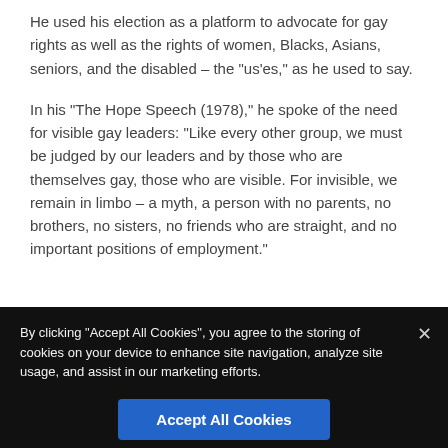He used his election as a platform to advocate for gay rights as well as the rights of women, Blacks, Asians, seniors, and the disabled – the "us'es," as he used to say.
In his “The Hope Speech (1978),” he spoke of the need for visible gay leaders: “Like every other group, we must be judged by our leaders and by those who are themselves gay, those who are visible. For invisible, we remain in limbo – a myth, a person with no parents, no brothers, no sisters, no friends who are straight, and no important positions of employment.”
By clicking "Accept All Cookies", you agree to the storing of cookies on your device to enhance site navigation, analyze site usage, and assist in our marketing efforts.
Accept All Cookies